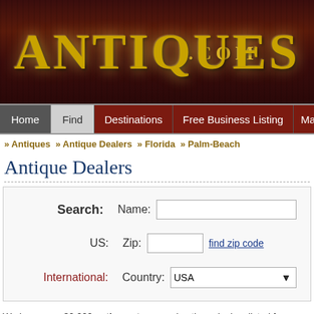[Figure (logo): Antiques.com website logo — gold serif text 'ANTIQUES' with '.COM' on dark brown wood-grain background]
Home | Find | Destinations | Free Business Listing | Magazine
» Antiques  » Antique Dealers  » Florida  » Palm-Beach
Antique Dealers
Search: Name: [text field]  US: Zip: [text field] find zip code  International: Country: USA [dropdown]
We have over 20,000 antique stores and antique dealers listed from over 2... Name, Zip, States and Cities. If you're looking for a specific item, use our classifieds section to search through over 100,000 items. Dealers Click H...